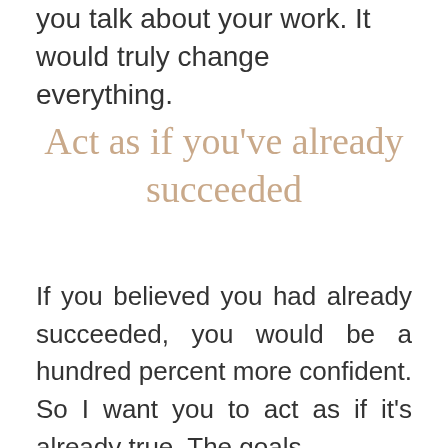you talk about your work. It would truly change everything.
Act as if you've already succeeded
If you believed you had already succeeded, you would be a hundred percent more confident. So I want you to act as if it's already true. The goals